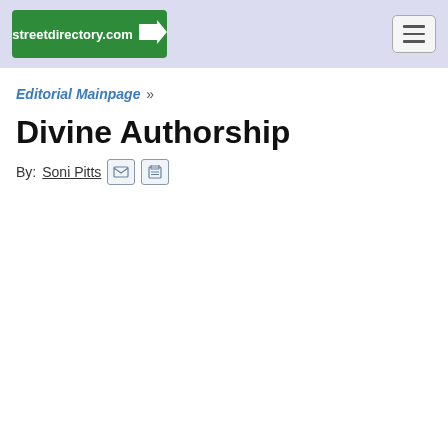streetdirectory.com
Editorial Mainpage »
Divine Authorship
By: Soni Pitts